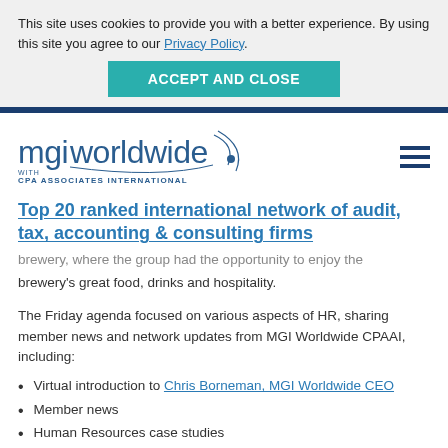This site uses cookies to provide you with a better experience. By using this site you agree to our Privacy Policy.
ACCEPT AND CLOSE
[Figure (logo): MGI Worldwide with CPA Associates International logo]
Top 20 ranked international network of audit, tax, accounting & consulting firms
brewery, where the group had the opportunity to enjoy the brewery's great food, drinks and hospitality.
The Friday agenda focused on various aspects of HR, sharing member news and network updates from MGI Worldwide CPAAI, including:
Virtual introduction to Chris Borneman, MGI Worldwide CEO
Member news
Human Resources case studies
Talent Recruitment and retention - keynote speaker and